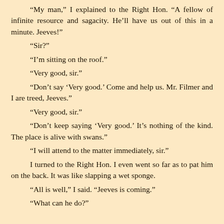“My man,” I explained to the Right Hon. “A fellow of infinite resource and sagacity. He’ll have us out of this in a minute. Jeeves!”
“Sir?”
“I’m sitting on the roof.”
“Very good, sir.”
“Don’t say ‘Very good.’ Come and help us. Mr. Filmer and I are treed, Jeeves.”
“Very good, sir.”
“Don’t keep saying ‘Very good.’ It’s nothing of the kind. The place is alive with swans.”
“I will attend to the matter immediately, sir.”
I turned to the Right Hon. I even went so far as to pat him on the back. It was like slapping a wet sponge.
“All is well,” I said. “Jeeves is coming.”
“What can he do?”